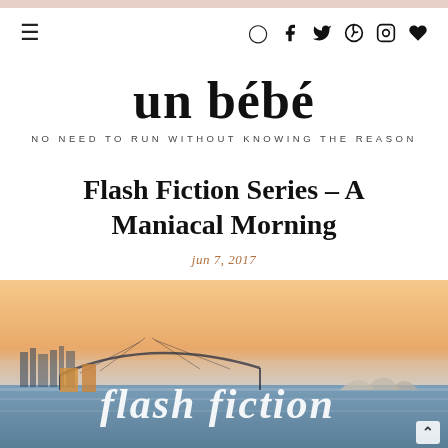un bébé — NO NEED TO RUN WITHOUT KNOWING THE REASON
Flash Fiction Series - A Maniacal Morning
jun 7, 2017
[Figure (photo): Hero image showing a city harbour (Sydney) at sunset/dusk with a bridge, water, and buildings. White cursive text overlay reads 'flash fiction'.]